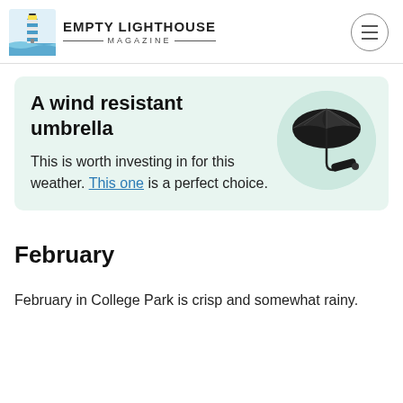EMPTY LIGHTHOUSE MAGAZINE
A wind resistant umbrella
This is worth investing in for this weather. This one is a perfect choice.
[Figure (photo): A black compact wind-resistant umbrella, shown open and folded, on a light teal circular background]
February
February in College Park is crisp and somewhat rainy.